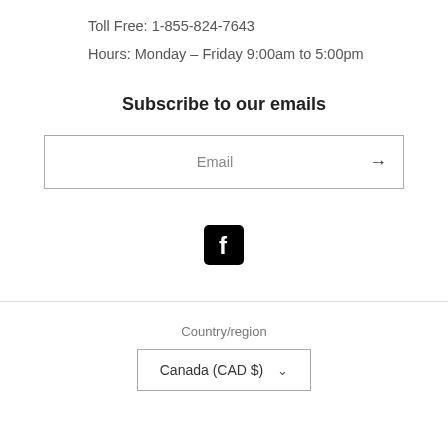Toll Free: 1-855-824-7643
Hours:  Monday – Friday 9:00am to 5:00pm
Subscribe to our emails
Email
[Figure (logo): Facebook social media icon — white 'f' on black rounded rectangle background]
Country/region
Canada (CAD $)